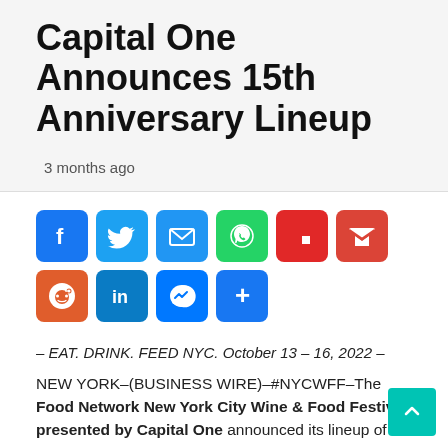Capital One Announces 15th Anniversary Lineup
3 months ago
[Figure (infographic): Social media share buttons: Facebook, Twitter, Email, WhatsApp, Flipboard, Gmail, Reddit, LinkedIn, Messenger, More (+)]
– EAT. DRINK. FEED NYC. October 13 – 16, 2022 –
NEW YORK–(BUSINESS WIRE)–#NYCWFF–The Food Network New York City Wine & Food Festival presented by Capital One announced its lineup of events to celebrate 15 years in the Big Apple.